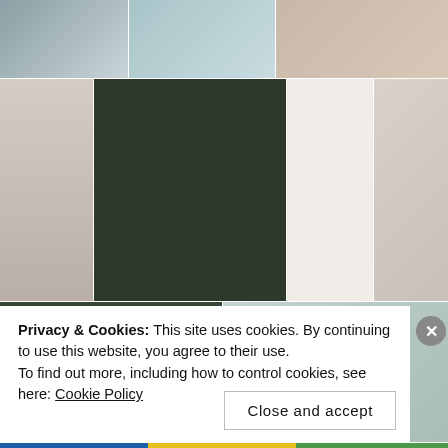[Figure (photo): Grid of gallery/art exhibition photos showing artwork displays, hanging photographs, illustrated prints, and decorative objects in various gallery and shop settings]
Privacy & Cookies: This site uses cookies. By continuing to use this website, you agree to their use.
To find out more, including how to control cookies, see here: Cookie Policy
Close and accept